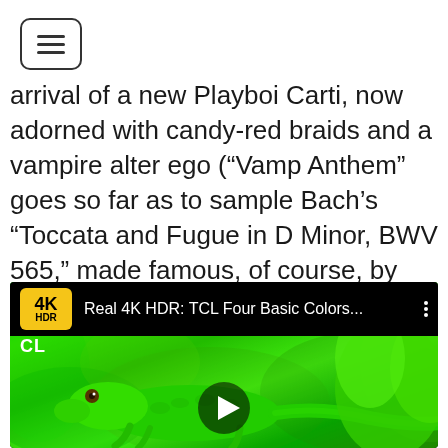[Figure (other): Hamburger menu button icon with three horizontal bars inside a rounded rectangle border]
arrival of a new Playboi Carti, now adorned with candy-red braids and a vampire alter ego (“Vamp Anthem” goes so far as to sample Bach’s “Toccata and Fugue in D Minor, BWV 565,” made famous, of course, by Dracula). There are other eccentricities, too.
[Figure (screenshot): YouTube video thumbnail showing 'Real 4K HDR: TCL Four Basic Colors...' with a green iguana/lizard on bright green foliage background. Has 4K HDR badge in yellow, CL label, three-dot menu, and play button overlay.]